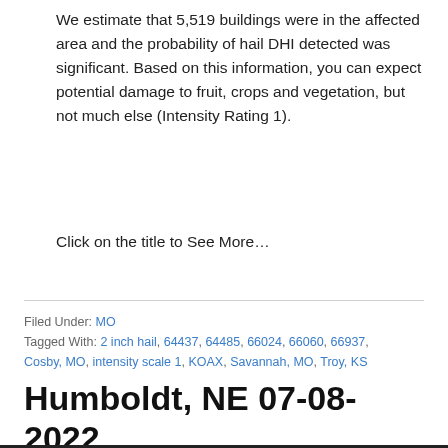We estimate that 5,519 buildings were in the affected area and the probability of hail DHI detected was significant. Based on this information, you can expect potential damage to fruit, crops and vegetation, but not much else (Intensity Rating 1).
Click on the title to See More…
Filed Under: MO
Tagged With: 2 inch hail, 64437, 64485, 66024, 66060, 66937, Cosby, MO, intensity scale 1, KOAX, Savannah, MO, Troy, KS
Humboldt, NE 07-08-2022